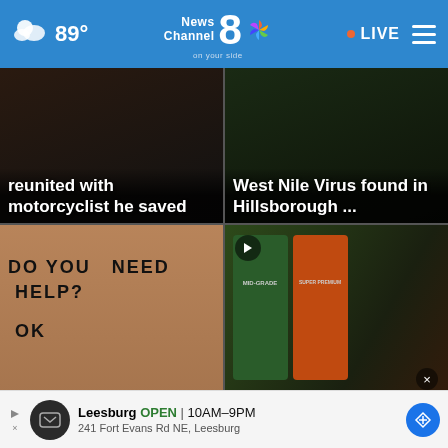89° News Channel 8 on your side NBC LIVE
[Figure (screenshot): News story card: 'reunited with motorcyclist he saved' - dark thumbnail image]
[Figure (screenshot): News story card: 'West Nile Virus found in Hillsborough ...' - dark outdoor thumbnail]
[Figure (screenshot): News story card: 'FL stepdad gets life after server slips note' - handwritten note 'DO YOU NEED HELP? OK']
[Figure (screenshot): News story card: 'Drivers can be cautiously optimistic about gas' - gas pump thumbnails with MID-GRADE and SUPER PREMIUM signs]
Leesburg OPEN 10AM–9PM | 241 Fort Evans Rd NE, Leesburg (advertisement)